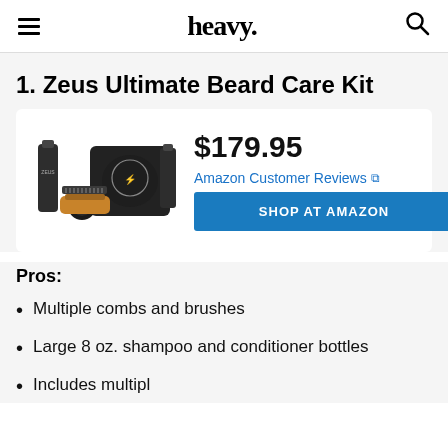heavy.
1. Zeus Ultimate Beard Care Kit
[Figure (photo): Zeus Ultimate Beard Care Kit product photo showing beard care products including bottles, a brush, comb, and branded black bag]
$179.95
Amazon Customer Reviews
SHOP AT AMAZON
Pros:
Multiple combs and brushes
Large 8 oz. shampoo and conditioner bottles
Includes multiple...